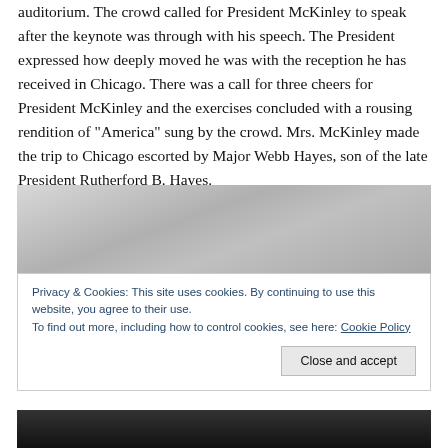auditorium. The crowd called for President McKinley to speak after the keynote was through with his speech. The President expressed how deeply moved he was with the reception he has received in Chicago. There was a call for three cheers for President McKinley and the exercises concluded with a rousing rendition of “America” sung by the crowd. Mrs. McKinley made the trip to Chicago escorted by Major Webb Hayes, son of the late President Rutherford B. Hayes.
[Figure (photo): Grayscale photograph, top portion visible showing a light gray sky or background]
Privacy & Cookies: This site uses cookies. By continuing to use this website, you agree to their use.
To find out more, including how to control cookies, see here: Cookie Policy
Close and accept
[Figure (photo): Grayscale photograph bottom strip, dark scene]